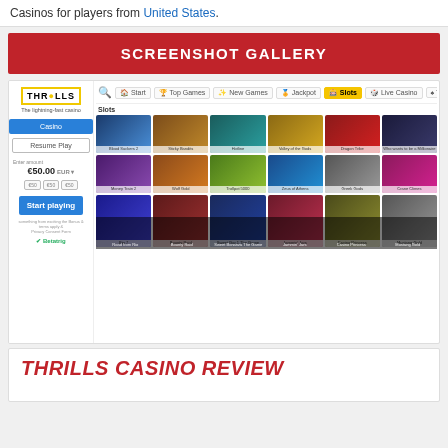Casinos for players from United States.
SCREENSHOT GALLERY
[Figure (screenshot): Screenshot of Thrills Casino website showing game lobby with slot games grid including Blood Suckers 2, Sticky Bandits, Hotline, Valley of the Gods, Dragon Tribe, Who Wants to be a Millionaire, Money Train 2, Wolf Gold, Trollpot 5000, Zeus of Athens, Greek Gods, Crane Climes, and several more. Left sidebar shows casino login area with €50.00 deposit amount.]
THRILLS CASINO REVIEW